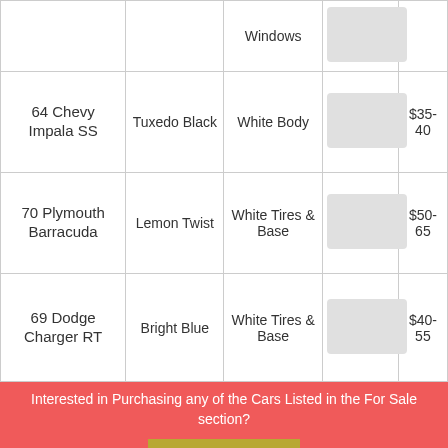| Car | Color | Details | Image | Price |
| --- | --- | --- | --- | --- |
|  | Windows |  |  |  |
| 64 Chevy Impala SS | Tuxedo Black | White Body | [image] | $35-40 |
| 70 Plymouth Barracuda | Lemon Twist | White Tires & Base | [image] | $50-65 |
| 69 Dodge Charger RT | Bright Blue | White Tires & Base | [image] | $40-55 |
Interested in Purchasing any of the Cars Listed in the For Sale section?
Contact to Buy